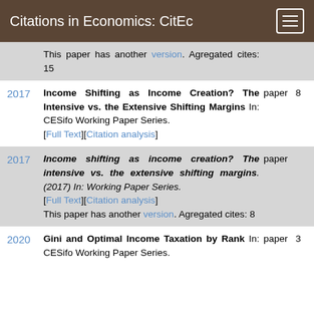Citations in Economics: CitEc
This paper has another version. Agregated cites: 15
2017 — Income Shifting as Income Creation? The Intensive vs. the Extensive Shifting Margins In: CESifo Working Paper Series. [Full Text][Citation analysis] paper 8
2017 — Income shifting as income creation? The intensive vs. the extensive shifting margins.(2017) In: Working Paper Series. [Full Text][Citation analysis] This paper has another version. Agregated cites: 8 paper
2020 — Gini and Optimal Income Taxation by Rank In: CESifo Working Paper Series. paper 3